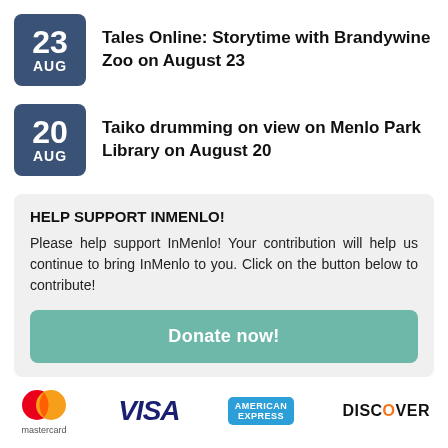23 AUG — Tales Online: Storytime with Brandywine Zoo on August 23
20 AUG — Taiko drumming on view on Menlo Park Library on August 20
HELP SUPPORT INMENLO!
Please help support InMenlo! Your contribution will help us continue to bring InMenlo to you. Click on the button below to contribute!
Donate now!
[Figure (logo): Payment method logos: Mastercard, VISA, American Express, Discover]